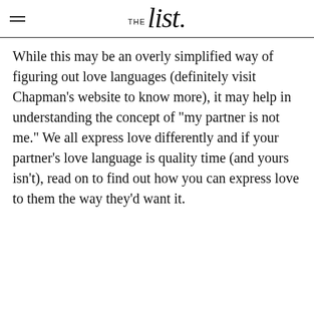THE list.
While this may be an overly simplified way of figuring out love languages (definitely visit Chapman's website to know more), it may help in understanding the concept of "my partner is not me." We all express love differently and if your partner's love language is quality time (and yours isn't), read on to find out how you can express love to them the way they'd want it.